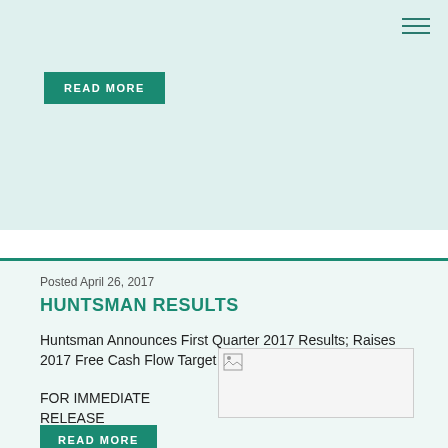[Figure (other): Top card with light teal background and READ MORE button]
Posted April 26, 2017
HUNTSMAN RESULTS
Huntsman Announces First Quarter 2017 Results; Raises 2017 Free Cash Flow Target to Over $450 Million
[Figure (photo): Image placeholder with broken image icon]
FOR IMMEDIATE RELEASE
April 26,